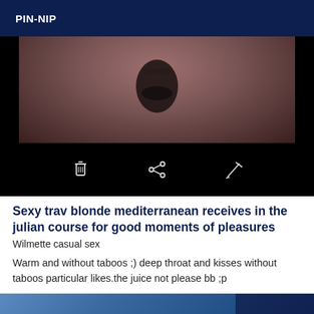PIN-NIP
[Figure (photo): A dark photo showing what appears to be a black object on a textured surface, with action icons (delete, share, edit) overlaid on a black bar below the photo]
Sexy trav blonde mediterranean receives in the julian course for good moments of pleasures
Wilmette casual sex
Warm and without taboos ;) deep throat and kisses without taboos particular likes.the juice not please bb ;p
[Figure (photo): Partial thumbnail image with Online badge in bottom right corner]